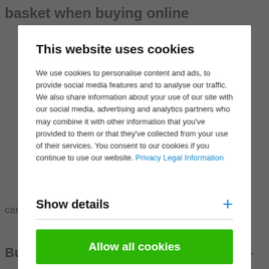basket when buying online
This website uses cookies
We use cookies to personalise content and ads, to provide social media features and to analyse our traffic. We also share information about your use of our site with our social media, advertising and analytics partners who may combine it with other information that you've provided to them or that they've collected from your use of their services. You consent to our cookies if you continue to use our website. Privacy Legal Information
Show details
Allow all cookies
can be beautifully combined and set stylish accents.
Buy storage baskets online at Connox -